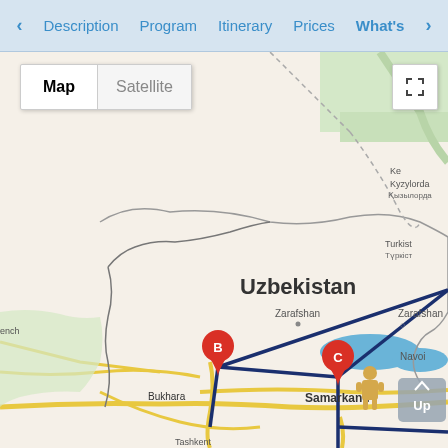Description  Program  Itinerary  Prices  What's
[Figure (map): Google Map showing Uzbekistan region with Map/Satellite toggle controls. Shows locations of Bukhara (marker B) and Samarkand (marker C) with route lines connecting them and extending off the right edge. Map labels include: Uzbekistan, Zarafshan, Navoi, Bukhara, Samarkand, Kyzylorda, Turkistan, Tashkent area. Navigation controls include fullscreen button, pegman figure, and Up button.]